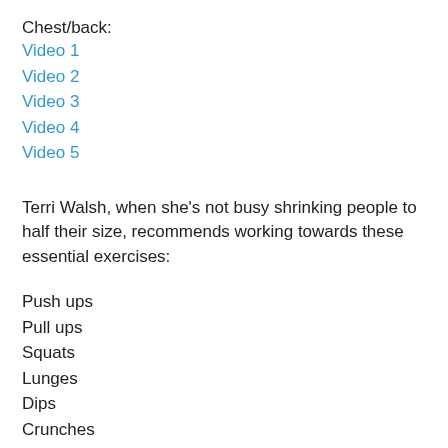Chest/back:
Video 1
Video 2
Video 3
Video 4
Video 5
Terri Walsh, when she's not busy shrinking people to half their size, recommends working towards these essential exercises:
Push ups
Pull ups
Squats
Lunges
Dips
Crunches
However, as we've mentioned, tough exercises like pushups and pullups may require modification, especially for beginners. Terri says that as a trainer, she always starts